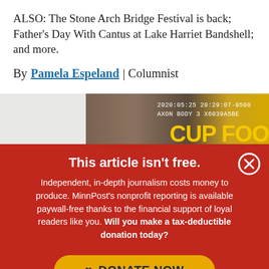ALSO: The Stone Arch Bridge Festival is back; Father's Day With Cantus at Lake Harriet Bandshell; and more.
By Pamela Espeland | Columnist
[Figure (photo): Partial photo of a building with a timestamp overlay reading '2020:05:25 20:29:07-0500 AXON BODY 3 X6039A5BE' and yellow text visible at bottom right.]
This article isn't free.
Independent, in-depth journalism costs money to produce. MinnPost's nonprofit reporting is available paywall-free thanks to the financial support of loyal readers like you. Will you make a tax-deductible donation today?
DONATE NOW